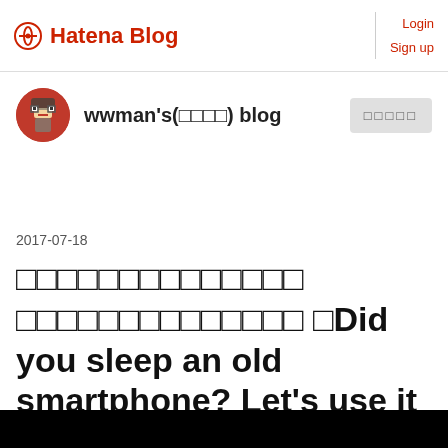Hatena Blog  Login  Sign up
wwman's(□□□□) blog
□□□□□
2017-07-18
□□□□□□□□□□□□□□　□□□□□□□□□□□□□□ □Did you sleep an old smartphone? Let's use it more effectively!!□